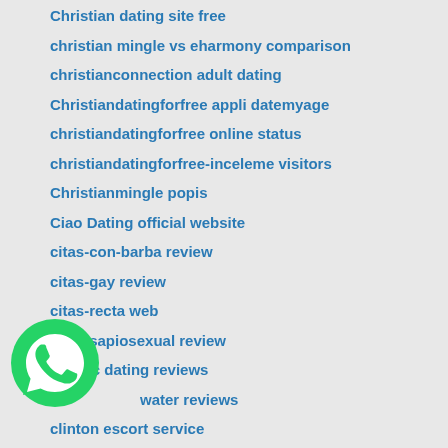Christian dating site free
christian mingle vs eharmony comparison
christianconnection adult dating
Christiandatingforfree appli datemyage
christiandatingforfree online status
christiandatingforfree-inceleme visitors
Christianmingle popis
Ciao Dating official website
citas-con-barba review
citas-gay review
citas-recta web
citas-sapiosexual review
classic dating reviews
water reviews
clinton escort service